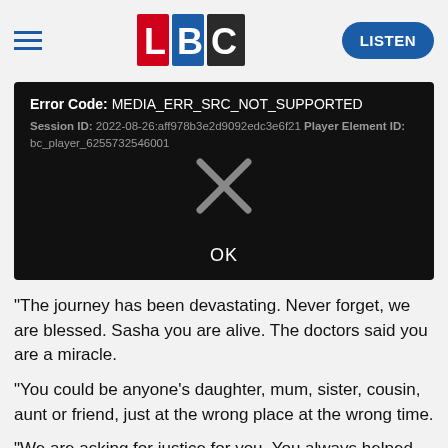LBC | LISTEN
[Figure (screenshot): Video player error dialog on black background. Error Code: MEDIA_ERR_SRC_NOT_SUPPORTED. Session ID: 2022-08-26:aff978b3e2d9092edc3e6f21 Player Element ID: bc_player_6255732546001. A large grey X icon in center. OK button at bottom.]
"The journey has been devastating. Never forget, we are blessed. Sasha you are alive. The doctors said you are a miracle.
"You could be anyone's daughter, mum, sister, cousin, aunt or friend, just at the wrong place at the wrong time.
"We are asking for justice for you. You always helped so